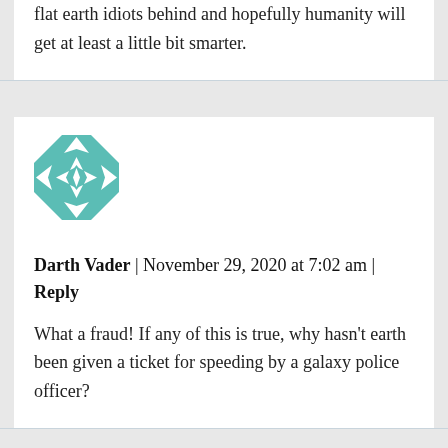flat earth idiots behind and hopefully humanity will get at least a little bit smarter.
[Figure (illustration): Teal and white geometric quilt-pattern avatar icon for user Darth Vader]
Darth Vader | November 29, 2020 at 7:02 am | Reply
What a fraud! If any of this is true, why hasn't earth been given a ticket for speeding by a galaxy police officer?